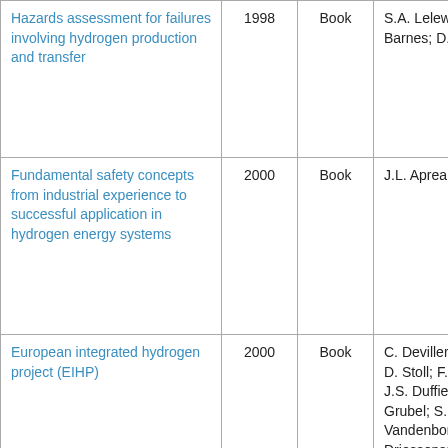| Title | Year | Type | Authors |
| --- | --- | --- | --- |
| Hazards assessment for failures involving hydrogen production and transfer | 1998 | Book | S.A. Lelewer; H. Barnes; D. Haberman |
| Fundamental safety concepts from industrial experience to successful application in hydrogen energy systems | 2000 | Book | J.L. Aprea |
| European integrated hydrogen project (EIHP) | 2000 | Book | C. Devillers; K. Pehr; D. Stoll; F.J. Wetzel; J.S. Duffield; H. Grubel; S. Zisler; H. Vandenborre; T. Driessens; A. Gonzalez; G.C.A. Vegas; R. Wurster; M. Kesten; M. Machel; F. |